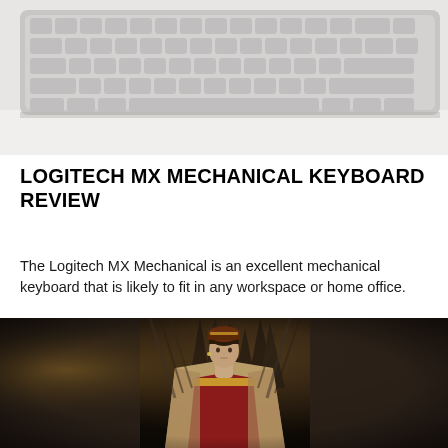[Figure (photo): Close-up photo of a gray Logitech MX Mechanical keyboard on a white surface, viewed from a slight angle showing the top rows of keys]
LOGITECH MX MECHANICAL KEYBOARD REVIEW
The Logitech MX Mechanical is an excellent mechanical keyboard that is likely to fit in any workspace or home office.
[Figure (photo): Dark cinematic scene showing a young woman in ornate medieval/fantasy costume (red and gold dress with cape) standing in front of what appears to be the Iron Throne, in a style reminiscent of House of the Dragon]